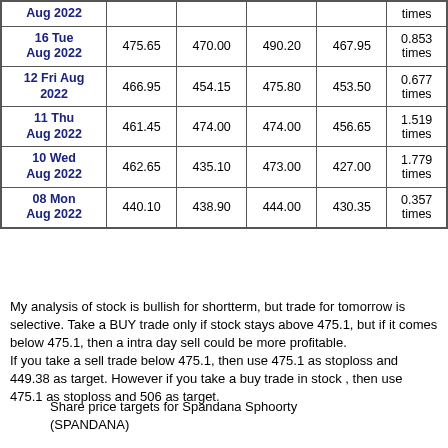| Date | Close | Open | High | Low | Volume |
| --- | --- | --- | --- | --- | --- |
| Aug 2022 |  |  |  |  | times |
| 16 Tue Aug 2022 | 475.65 | 470.00 | 490.20 | 467.95 | 0.853 times |
| 12 Fri Aug 2022 | 466.95 | 454.15 | 475.80 | 453.50 | 0.677 times |
| 11 Thu Aug 2022 | 461.45 | 474.00 | 474.00 | 456.65 | 1.519 times |
| 10 Wed Aug 2022 | 462.65 | 435.10 | 473.00 | 427.00 | 1.779 times |
| 08 Mon Aug 2022 | 440.10 | 438.90 | 444.00 | 430.35 | 0.357 times |
My analysis of stock is bullish for shortterm, but trade for tomorrow is selective. Take a BUY trade only if stock stays above 475.1, but if it comes below 475.1, then a intra day sell could be more profitable.
If you take a sell trade below 475.1, then use 475.1 as stoploss and 449.38 as target. However if you take a buy trade in stock , then use 475.1 as stoploss and 506 as target.
Share price targets for Spandana Sphoorty (SPANDANA)